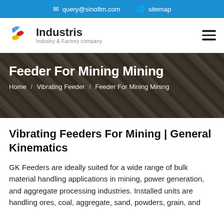query@sinoftm.com   sitemap
[Figure (logo): Industris logo with colorful pinwheel/fan icon and text 'Industris / Industry & Factory company']
Feeder For Mining Mining
Home / Vibrating Feeder / Feeder For Mining Mining
Vibrating Feeders For Mining | General Kinematics
GK Feeders are ideally suited for a wide range of bulk material handling applications in mining, power generation, and aggregate processing industries. Installed units are handling ores, coal, aggregate, sand, powders, grain, and